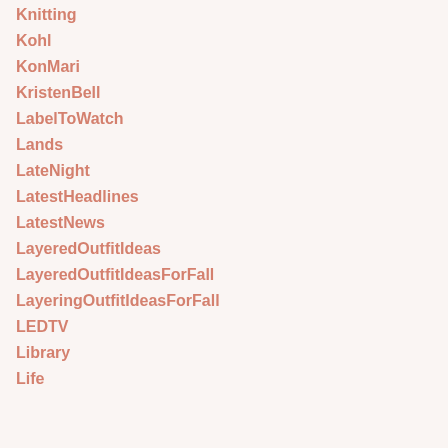Knitting
Kohl
KonMari
KristenBell
LabelToWatch
Lands
LateNight
LatestHeadlines
LatestNews
LayeredOutfitIdeas
LayeredOutfitIdeasForFall
LayeringOutfitIdeasForFall
LEDTV
Library
Life